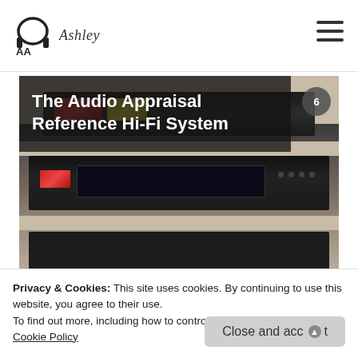Ashley
[Figure (photo): Photo of a hi-fi audio rack with black electronic components on cream-colored shelves, showing CD player, amplifier, and other audio components stacked vertically.]
The Audio Appraisal Reference Hi-Fi System
Privacy & Cookies: This site uses cookies. By continuing to use this website, you agree to their use.
To find out more, including how to control cookies, see here: Cookie Policy
Ashley